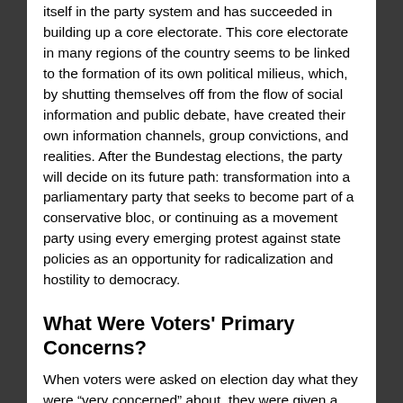itself in the party system and has succeeded in building up a core electorate. This core electorate in many regions of the country seems to be linked to the formation of its own political milieus, which, by shutting themselves off from the flow of social information and public debate, have created their own information channels, group convictions, and realities. After the Bundestag elections, the party will decide on its future path: transformation into a parliamentary party that seeks to become part of a conservative bloc, or continuing as a movement party using every emerging protest against state policies as an opportunity for radicalization and hostility to democracy.
What Were Voters' Primary Concerns?
When voters were asked on election day what they were “very concerned” about, they were given a choice of topics that largely corresponded to party-